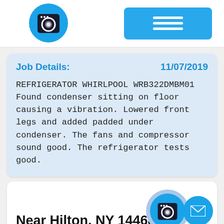[Figure (logo): Washing machine app icon in blue circle and hamburger menu button in blue rectangle]
Job Details:    11/07/2019
REFRIGERATOR WHIRLPOOL WRB322DMBM01 Found condenser sitting on floor causing a vibration. Lowered front legs and added padded under condenser. The fans and compressor sound good. The refrigerator tests good.
Near Hilton, NY 14468